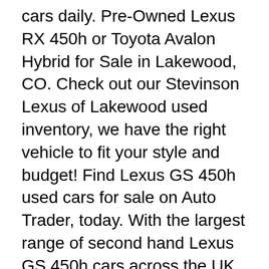cars daily. Pre-Owned Lexus RX 450h or Toyota Avalon Hybrid for Sale in Lakewood, CO. Check out our Stevinson Lexus of Lakewood used inventory, we have the right vehicle to fit your style and budget! Find Lexus GS 450h used cars for sale on Auto Trader, today. With the largest range of second hand Lexus GS 450h cars across the UK, find the right car for you.
begagnad Lexus RX450h AWD Executive Teknikpaket 10 år/20000 mil Select garanti Skatt 712 kr. Superpris. Lexus RX 450h Comfort Hybrid 250hk - 2års gar | Stockholm | Blocket Bilder : Salvage LEXUS RX450 2010 for sale, vin: JTJZB1BA1A2004171  ZEES LEXUS RX450h GYL10/15W GYL16W ZEES ロードポーラス タイヤ カバーシート 235/65R17＊3/5セットでSALE ＊＊P37＊&1000以上